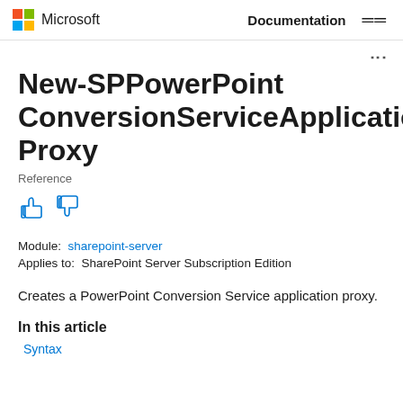Microsoft  Documentation
New-SPPowerPointConversionServiceApplicationProxy
Reference
Module:  sharepoint-server
Applies to:  SharePoint Server Subscription Edition
Creates a PowerPoint Conversion Service application proxy.
In this article
Syntax